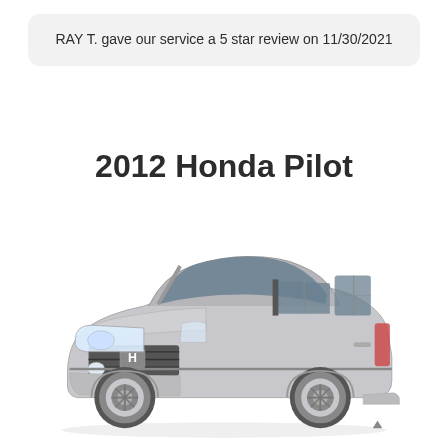RAY T. gave our service a 5 star review on 11/30/2021
2012 Honda Pilot
[Figure (photo): Photo of a silver 2012 Honda Pilot SUV shown from a front three-quarter view against a white background]